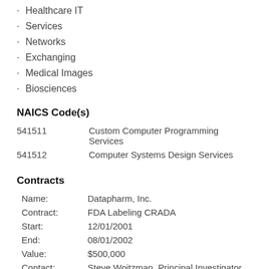Healthcare IT
Services
Networks
Exchanging
Medical Images
Biosciences
NAICS Code(s)
| Code | Description |
| --- | --- |
| 541511 | Custom Computer Programming Services |
| 541512 | Computer Systems Design Services |
Contracts
| Field | Value |
| --- | --- |
| Name: | Datapharm, Inc. |
| Contract: | FDA Labeling CRADA |
| Start: | 12/01/2001 |
| End: | 08/01/2002 |
| Value: | $500,000 |
| Contact: | Steve Woitzman, Principal Investigator |